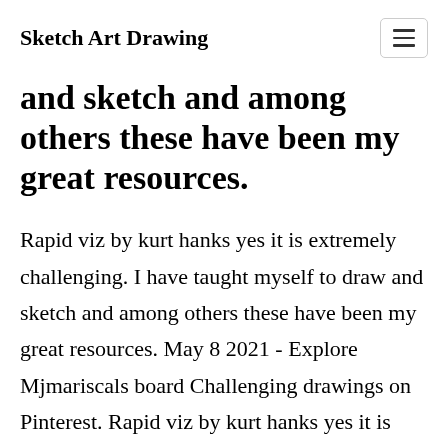Sketch Art Drawing
and sketch and among others these have been my great resources.
Rapid viz by kurt hanks yes it is extremely challenging. I have taught myself to draw and sketch and among others these have been my great resources. May 8 2021 - Explore Mjmariscals board Challenging drawings on Pinterest. Rapid viz by kurt hanks yes it is extremely challenging. 49